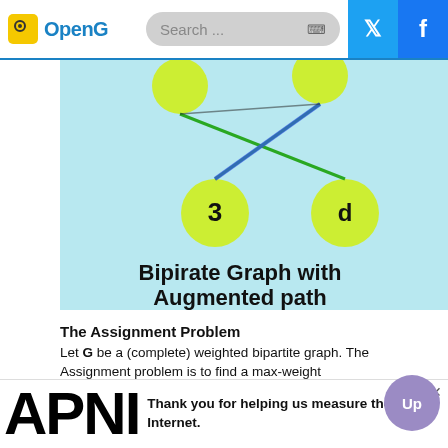OpenG | Search
[Figure (network-graph): Bipartite Graph with Augmented path showing nodes labeled '3' and 'd' connected by crossing green and blue edges on a light blue background]
The Assignment Problem
Let G be a (complete) weighted bipartite graph. The Assignment problem is to find a max-weight matching in G.
A Perfect Matching is an M in which every vertex is adjacent to some edge in M. A max-weight matching is perfect.
We can convert the bipartite maximum-weighted matching problem to an Assignment Problem, by simply converting the
APNIC — Thank you for helping us measure the Internet.